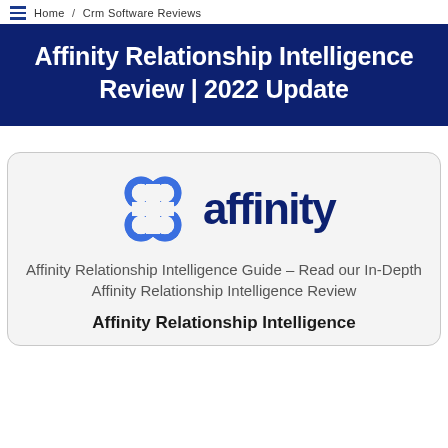Home / Crm Software Reviews
Affinity Relationship Intelligence Review | 2022 Update
[Figure (logo): Affinity logo: blue chain-link/infinity symbol icon followed by the word 'affinity' in dark navy text]
Affinity Relationship Intelligence Guide – Read our In-Depth Affinity Relationship Intelligence Review
Affinity Relationship Intelligence